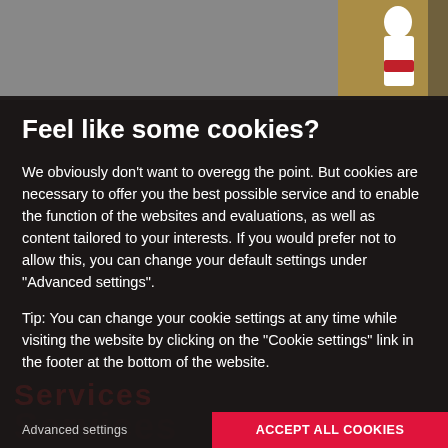[Figure (photo): Top section showing a gray area on the left and a partial photo on the right with a figure in white clothing with a red element]
Feel like some cookies?
We obviously don't want to overegg the point. But cookies are necessary to offer you the best possible service and to enable the function of the websites and evaluations, as well as content tailored to your interests. If you would prefer not to allow this, you can change your default settings under "Advanced settings".
Tip: You can change your cookie settings at any time while visiting the website by clicking on the "Cookie settings" link in the footer at the bottom of the website.
Advanced settings
ACCEPT ALL COOKIES